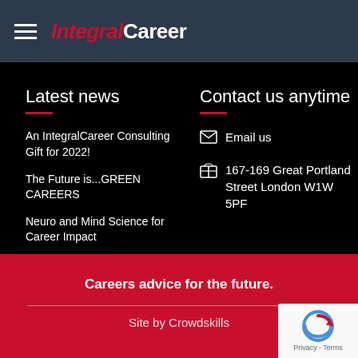IntegralCareer
Latest news
An IntegralCareer Consulting Gift for 2022!
The Future is...GREEN CAREERS
Neuro and Mind Science for Career Impact
Contact us anytime
Email us
167-169 Great Portland Street London W1W 5PF
Careers advice for the future.
Site by Crowdskills